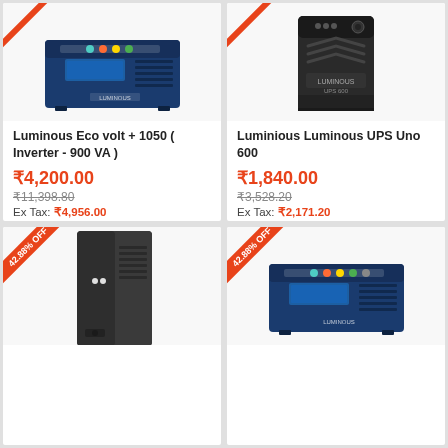[Figure (photo): Luminous Eco volt+ 1050 blue inverter unit]
Luminous Eco volt + 1050 ( Inverter - 900 VA )
₹4,200.00
₹11,398.80
Ex Tax: ₹4,956.00
[Figure (photo): Luminous UPS Uno 600 black tower UPS unit]
Luminious Luminous UPS Uno 600
₹1,840.00
₹3,528.20
Ex Tax: ₹2,171.20
[Figure (photo): Black tower UPS unit with 42.88% OFF badge]
[Figure (photo): Luminous blue inverter unit with 42.88% OFF badge]